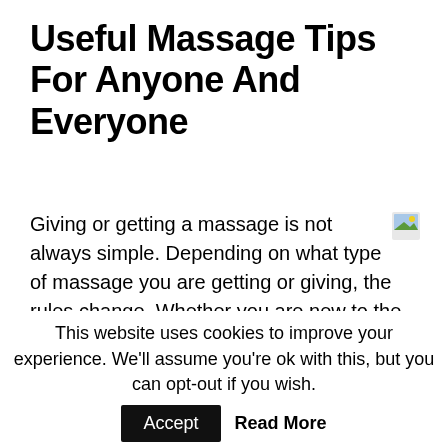Useful Massage Tips For Anyone And Everyone
Giving or getting a massage is not always simple. Depending on what type of massage you are getting or giving, the rules change. Whether you are new to the world of messages, or are a seasoned veteran, this article has just what you need. Check out these tips to expand your knowledge on the art of massage.
Aim to get a quality massage a few times each week. A lot of people find that massages are great for their...
This website uses cookies to improve your experience. We'll assume you're ok with this, but you can opt-out if you wish.